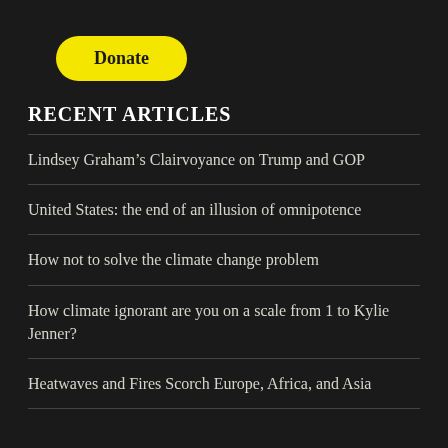[Figure (other): Yellow rounded rectangle Donate button]
RECENT ARTICLES
Lindsey Graham’s Clairvoyance on Trump and GOP
United States: the end of an illusion of omnipotence
How not to solve the climate change problem
How climate ignorant are you on a scale from 1 to Kylie Jenner?
Heatwaves and Fires Scorch Europe, Africa, and Asia